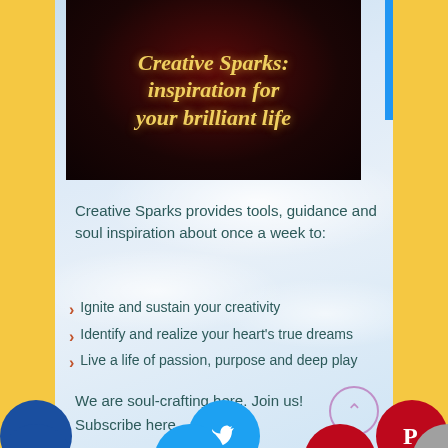[Figure (illustration): Book cover with dark red/black background showing italic gold text: 'Creative Sparks: inspiration for your brilliant life']
Creative Sparks provides tools, guidance and soul inspiration about once a week to:
Ignite and sustain your creativity
Identify and realize your heart's true dreams
Live a life of passion, purpose and deep play
We are soul-crafting here. Join us!
Subscribe here
[Figure (infographic): Social media icons row: Facebook (blue), Twitter (blue), Pinterest (red), Email (grey), Crown icon (blue). Back-to-top button with upward chevron in purple circle.]